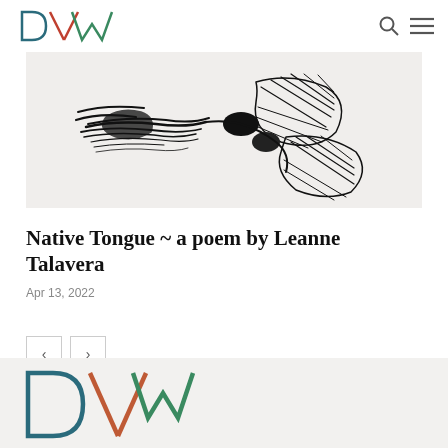DVW logo, search icon, menu icon
[Figure (illustration): Black ink sketch on light background showing a dragonfly or bird-like creature drawn with loose gestural strokes]
Native Tongue ~ a poem by Leanne Talavera
Apr 13, 2022
[Figure (infographic): Navigation buttons: left arrow and right arrow in bordered square boxes]
[Figure (logo): DVW logo in teal, orange/red, and green colors in the footer area]